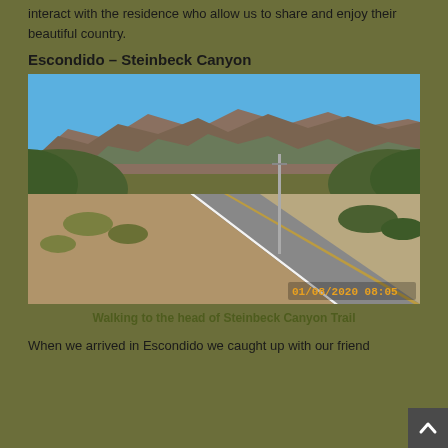interact with the residence who allow us to share and enjoy their beautiful country.
Escondido – Steinbeck Canyon
[Figure (photo): A paved road leading toward rugged mountainous terrain under a blue sky, with desert scrub vegetation on both sides. A date/time stamp reads 01/08/2020 08:05 in the lower right corner.]
Walking to the head of Steinbeck Canyon Trail
When we arrived in Escondido we caught up with our friend